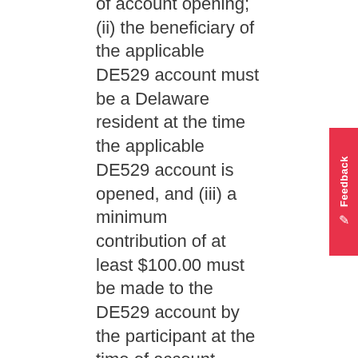of account opening; (ii) the beneficiary of the applicable DE529 account must be a Delaware resident at the time the applicable DE529 account is opened, and (iii) a minimum contribution of at least $100.00 must be made to the DE529 account by the participant at the time of account opening. The First Steps Program shall remain in effect July 1, 2022 through December 31, 2022 and may be extended by